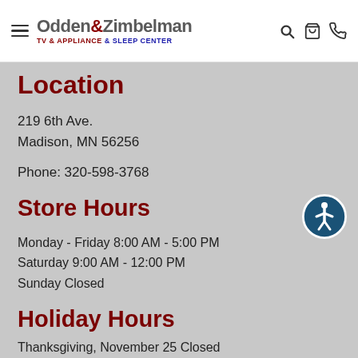Odden & Zimbelman TV & Appliance & Sleep Center
Location
219 6th Ave.
Madison, MN 56256
Phone: 320-598-3768
Store Hours
Monday - Friday 8:00 AM - 5:00 PM
Saturday 9:00 AM - 12:00 PM
Sunday Closed
Holiday Hours
Thanksgiving, November 25 Closed